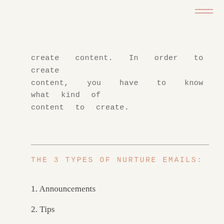create content. In order to create content, you have to know what kind of content to create.
THE 3 TYPES OF NURTURE EMAILS:
1. Announcements
2. Tips
3. Free resources